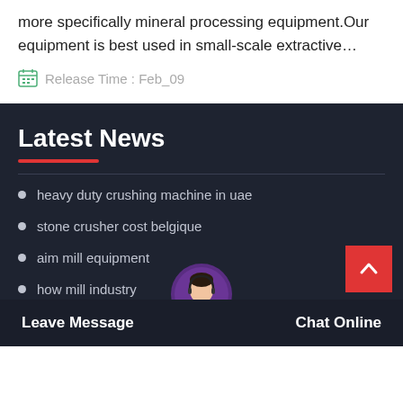more specifically mineral processing equipment.Our equipment is best used in small-scale extractive…
Release Time : Feb_09
Latest News
heavy duty crushing machine in uae
stone crusher cost belgique
aim mill equipment
how mill industry
high quality chrome ore high magnetic separator in bioe…
Leave Message
Chat Online